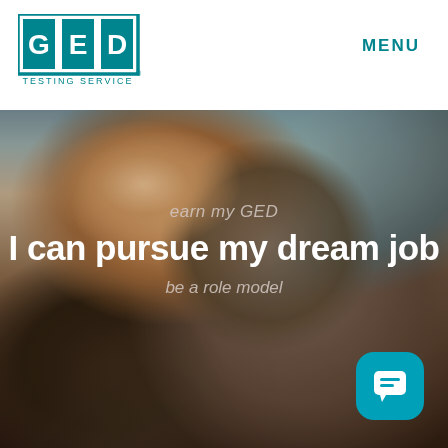[Figure (logo): GED Testing Service logo — blue square with G, E, D letters and 'TESTING SERVICE' text below]
MENU
[Figure (photo): Portrait photo of a smiling woman with curly hair and glasses, overlaid with motivational text: 'earn my GED', 'I can pursue my dream job', 'be a role model']
earn my GED
I can pursue my dream job
be a role model